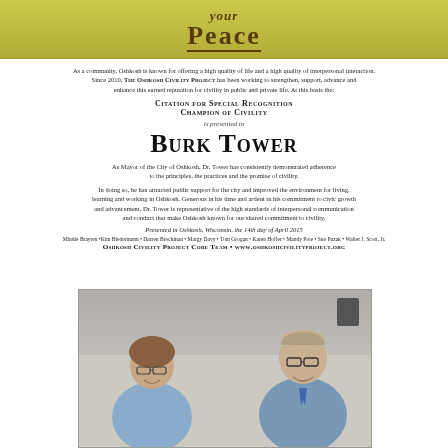[Figure (illustration): Banner with wood-grain yellow-green background showing the text 'your Peace' in brown stylized lettering]
As a community, Oshkosh is known for offering a high quality of life and a high quality of interpersonal interaction. Since 2010, The Oshkosh Civility Project has been working to strengthen, support, advance and enhance this earned reputation for civility in public and private life. As this basis the:
Citation for Special Recognition
Champion of Civility
is presented to
Burk Tower
As Mayor of the City of Oshkosh, Dr. Tower has consistently demonstrated adherence to the principles, the practices and the promise of civility.
In doing so, he has attracted public support for the city and improved the environment for living, learning and working in Oshkosh. Generous in his time and ardent in his commitment to civic growth and advancement, Dr. Tower is representative of the high standards of interpersonal communication and conduct that make Oshkosh known for our shared commitment to civility.
Presented in Oshkosh, Wisconsin, the 14th day of April 2015
Mindie Brayten • Kim Biedermann • Darren Brockman • Margy Davy • Tom Grogan • Karen Holfer • Mandy Pote • Sue Puzak • Walter J. Scott, Jr.
Oshkosh Civility Project Core Team • www.oshkoshcivilityproject.org
[Figure (photo): Photo of two people smiling, a shorter woman on the left and a taller man on the right wearing glasses and a blue shirt with tie]